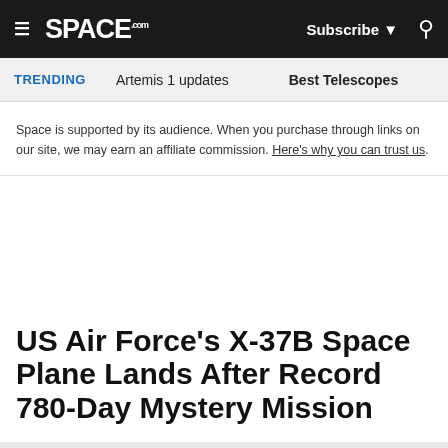SPACE.com — Subscribe | Search
TRENDING   Artemis 1 updates   Best Telescopes
Space is supported by its audience. When you purchase through links on our site, we may earn an affiliate commission. Here's why you can trust us.
US Air Force's X-37B Space Plane Lands After Record 780-Day Mystery Mission